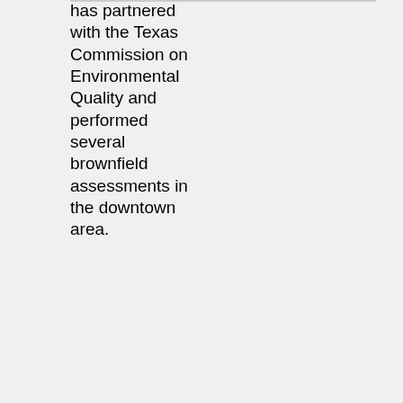has partnered with the Texas Commission on Environmental Quality and performed several brownfield assessments in the downtown area.